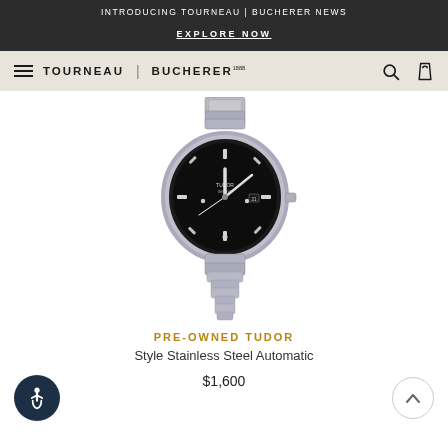INTRODUCING TOURNEAU | BUCHERER NEWS
EXPLORE NOW
TOURNEAU | BUCHERER
[Figure (photo): Tudor Style Stainless Steel Automatic watch with black dial and silver bracelet, shown face-on against white background]
PRE-OWNED TUDOR
Style Stainless Steel Automatic
$1,600